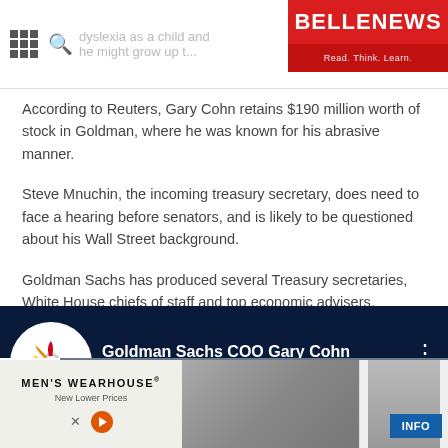BELLENEWS — Read. Think. Learn.
According to Reuters, Gary Cohn retains $190 million worth of stock in Goldman, where he was known for his abrasive manner.
Steve Mnuchin, the incoming treasury secretary, does need to face a hearing before senators, and is likely to be questioned about his Wall Street background.
Goldman Sachs has produced several Treasury secretaries, White House chiefs of staff and top economic advisers.
[Figure (screenshot): CNBC embedded video thumbnail showing 'Goldman Sachs COO Gary Cohn Offer...' with CNBC logo and dark blue background]
[Figure (photo): Men's Wearhouse advertisement showing couple in formal wear with INFO button]